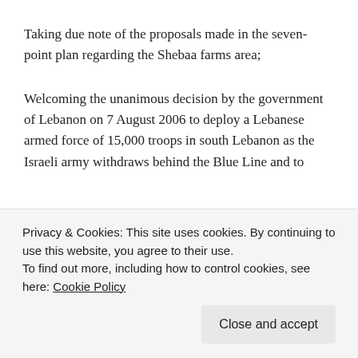Taking due note of the proposals made in the seven-point plan regarding the Shebaa farms area;
Welcoming the unanimous decision by the government of Lebanon on 7 August 2006 to deploy a Lebanese armed force of 15,000 troops in south Lebanon as the Israeli army withdraws behind the Blue Line and to
Privacy & Cookies: This site uses cookies. By continuing to use this website, you agree to their use.
To find out more, including how to control cookies, see here: Cookie Policy